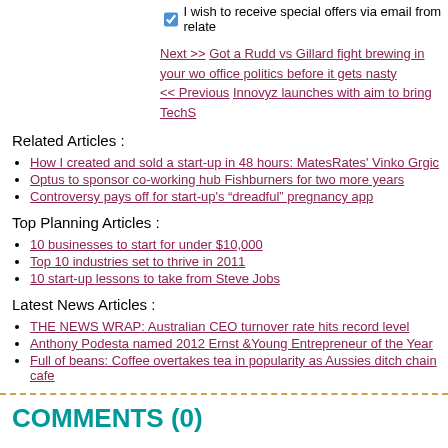I wish to receive special offers via email from relate
Next >> Got a Rudd vs Gillard fight brewing in your wo office politics before it gets nasty
<< Previous Innovyz launches with aim to bring TechS
Related Articles :
How I created and sold a start-up in 48 hours: MatesRates' Vinko Grgic
Optus to sponsor co-working hub Fishburners for two more years
Controversy pays off for start-up's “dreadful” pregnancy app
Top Planning Articles :
10 businesses to start for under $10,000
Top 10 industries set to thrive in 2011
10 start-up lessons to take from Steve Jobs
Latest News Articles :
THE NEWS WRAP: Australian CEO turnover rate hits record level
Anthony Podesta named 2012 Ernst &Young Entrepreneur of the Year
Full of beans: Coffee overtakes tea in popularity as Aussies ditch chain cafe
COMMENTS (0)